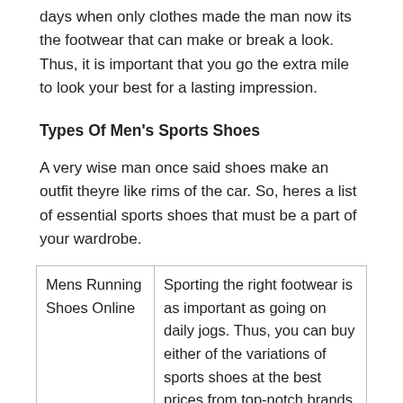days when only clothes made the man now its the footwear that can make or break a look. Thus, it is important that you go the extra mile to look your best for a lasting impression.
Types Of Men's Sports Shoes
A very wise man once said shoes make an outfit theyre like rims of the car. So, heres a list of essential sports shoes that must be a part of your wardrobe.
| Mens Running Shoes Online | Sporting the right footwear is as important as going on daily jogs. Thus, you can buy either of the variations of sports shoes at the best prices from top-notch brands at Paytm Mall. |